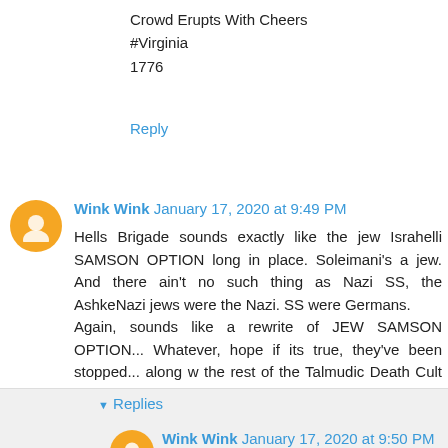Crowd Erupts With Cheers
#Virginia
1776
Reply
Wink Wink January 17, 2020 at 9:49 PM
Hells Brigade sounds exactly like the jew Israhelli SAMSON OPTION long in place. Soleimani's a jew. And there ain't no such thing as Nazi SS, the AshkeNazi jews were the Nazi. SS were Germans.
Again, sounds like a rewrite of JEW SAMSON OPTION... Whatever, hope if its true, they've been stopped... along w the rest of the Talmudic Death Cult bastards born of satans backside.
Reply
Replies
Wink Wink January 17, 2020 at 9:50 PM
The Samson Option: Israel's Nuclear Arsenal &